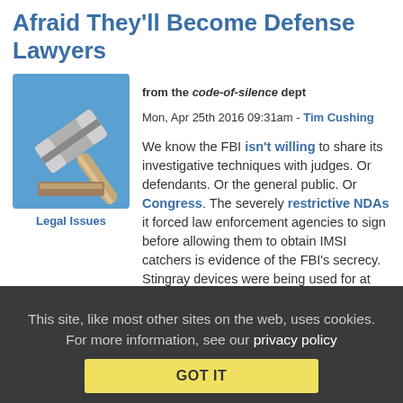Afraid They'll Become Defense Lawyers
from the code-of-silence dept
Mon, Apr 25th 2016 09:31am - Tim Cushing
[Figure (illustration): Gavel icon with blue background]
Legal Issues
We know the FBI isn't willing to share its investigative techniques with judges. Or defendants. Or the general public. Or Congress. The severely restrictive NDAs it forced law enforcement agencies to sign before allowing them to obtain IMSI catchers is evidence of the FBI's secrecy. Stingray devices were being used for at least a half-decade before information starting leaking into the public domain.
The FBI doesn't want to hand over details on its hacking tools. Nor does it want to discuss the specifics of the million-dollar technique that allowed it to break into a dead terrorist's phone (which held nothing of interest).
This site, like most other sites on the web, uses cookies. For more information, see our privacy policy
GOT IT